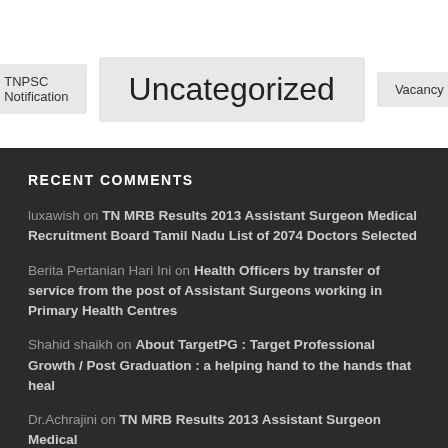TNPSC Notification
Uncategorized
Vacancy
RECENT COMMENTS
luxawish on TN MRB Results 2013 Assistant Surgeon Medical Recruitment Board Tamil Nadu List of 2074 Doctors Selected
Berita Pertanian Hari Ini on Health Officers by transfer of service from the post of Assistant Surgeons working in Primary Health Centres
Shahid shaikh on About TargetPG : Target Professional Growth / Post Graduation : a helping hand to the hands that heal
Dr.Achrajini on TN MRB Results 2013 Assistant Surgeon Medical